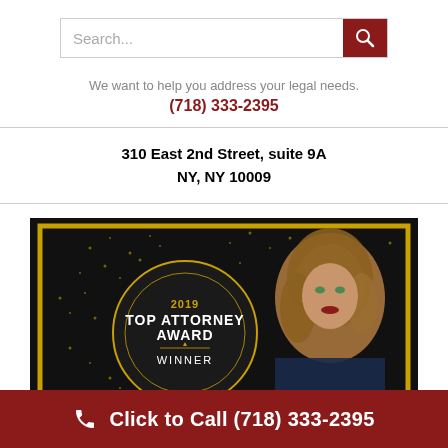[Figure (screenshot): Search bar with text input and dark red search button with magnifying glass icon]
We want to help you address your legal needs.
(718) 333-2395
310 East 2nd Street, suite 9A
NY, NY 10009
[Figure (photo): 2019 Top Attorney Award Winner promotional image showing a female attorney with a gold-bordered award medallion on a dark glittery background]
Click to Call (718) 333-2395